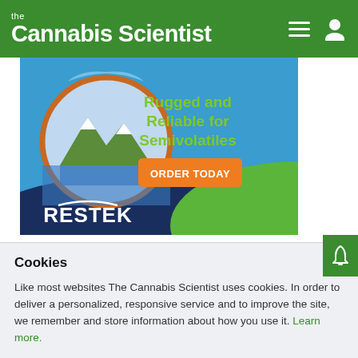the Cannabis Scientist
[Figure (illustration): Restek advertisement banner: 'Rugged and Reliable for Semivolatiles' with an orange ORDER TODAY button and Restek logo on a blue/green background with a mountain lake image in a circular frame.]
Related Application Notes
Cookies
Like most websites The Cannabis Scientist uses cookies. In order to deliver a personalized, responsive service and to improve the site, we remember and store information about how you use it. Learn more.